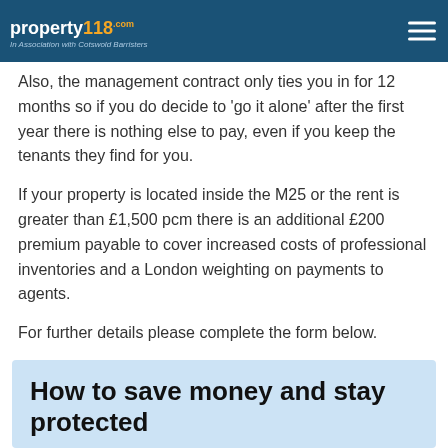property118.com | In Association with Cotswold Barristers
Also, the management contract only ties you in for 12 months so if you do decide to 'go it alone' after the first year there is nothing else to pay, even if you keep the tenants they find for you.
If your property is located inside the M25 or the rent is greater than £1,500 pcm there is an additional £200 premium payable to cover increased costs of professional inventories and a London weighting on payments to agents.
For further details please complete the form below.
How to save money and stay protected